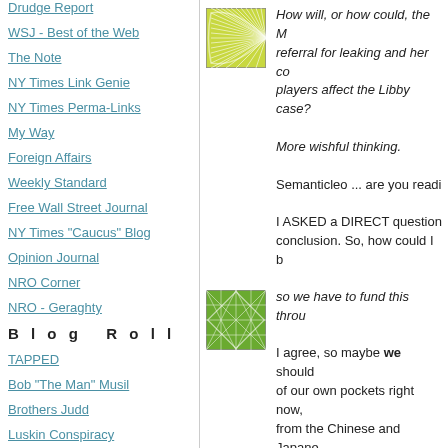Drudge Report
WSJ - Best of the Web
The Note
NY Times Link Genie
NY Times Perma-Links
My Way
Foreign Affairs
Weekly Standard
Free Wall Street Journal
NY Times "Caucus" Blog
Opinion Journal
NRO Corner
NRO - Geraghty
B l o g   R o l l
TAPPED
Bob "The Man" Musil
Brothers Judd
Luskin Conspiracy
[Figure (illustration): Green starburst/leaf pattern avatar icon with border]
How will, or how could, the M... referral for leaking and her co... players affect the Libby case?... More wishful thinking. Semanticleo ... are you readi... I ASKED a DIRECT question... conclusion. So, how could I b...
[Figure (illustration): Green geometric diamond/grid pattern avatar icon with border]
so we have to fund this throu... I agree, so maybe we should... of our own pockets right now,... from the Chinese and Japane... pay back the loan we took ou...
[Figure (illustration): Teal/blue wave pattern avatar icon with border (partially visible)]